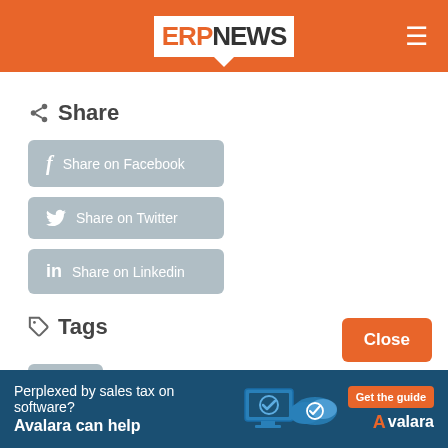ERP NEWS
Share
Share on Facebook
Share on Twitter
Share on Linkedin
Tags
ERP
Categories
News
[Figure (screenshot): Bottom advertisement banner: 'Perplexed by sales tax on software? Avalara can help' with device icons and Get the guide CTA button]